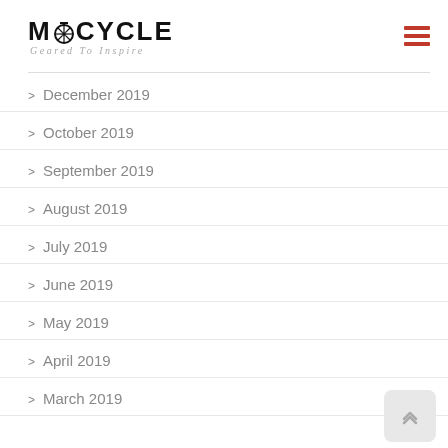MOOCYCLE — Geared To Inspire
> December 2019
> October 2019
> September 2019
> August 2019
> July 2019
> June 2019
> May 2019
> April 2019
> March 2019